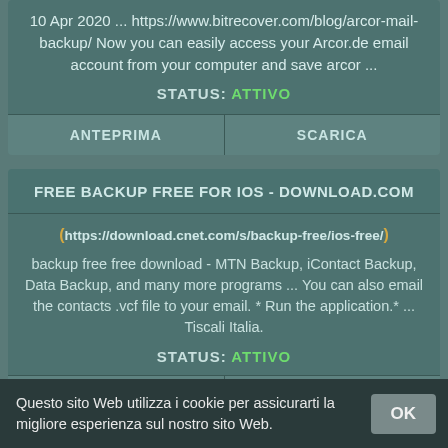10 Apr 2020 ... https://www.bitrecover.com/blog/arcor-mail-backup/ Now you can easily access your Arcor.de email account from your computer and save arcor ...
STATUS: ATTIVO
ANTEPRIMA
SCARICA
FREE BACKUP FREE FOR IOS - DOWNLOAD.COM
https://download.cnet.com/s/backup-free/ios-free/
backup free free download - MTN Backup, iContact Backup, Data Backup, and many more programs ... You can also email the contacts .vcf file to your email. * Run the application.* ... Tiscali Italia.
STATUS: ATTIVO
Questo sito Web utilizza i cookie per assicurarti la migliore esperienza sul nostro sito Web.
OK